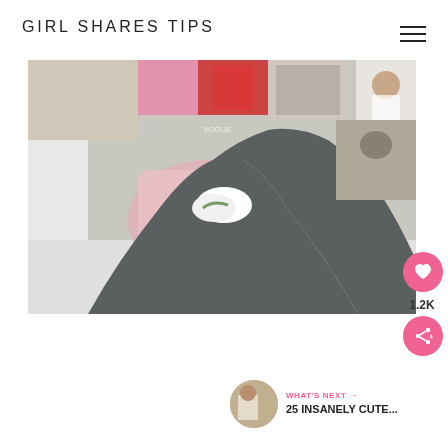GIRL SHARES TIPS
[Figure (photo): A person lying on a bed wearing dark grey leggings and white sneakers, with a pink cushion and collage of magazine cutouts/photos on the wall behind them.]
1.2K
WHAT'S NEXT → 25 INSANELY CUTE...